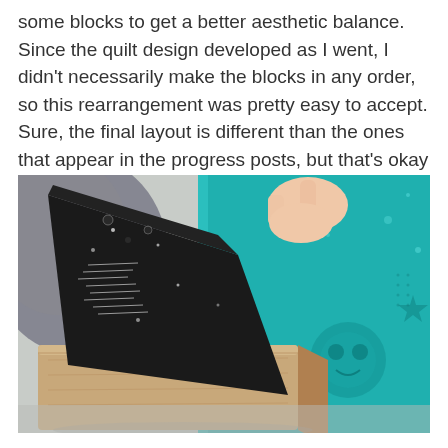some blocks to get a better aesthetic balance. Since the quilt design developed as I went, I didn't necessarily make the blocks in any order, so this rearrangement was pretty easy to accept. Sure, the final layout is different than the ones that appear in the progress posts, but that's okay with me.
[Figure (photo): A hand is placing or pressing a folded piece of dark black fabric with white text/script print onto a wooden block. In the background, a teal/turquoise quilt with star and owl patterns is visible. The scene appears to be a quilting workspace.]